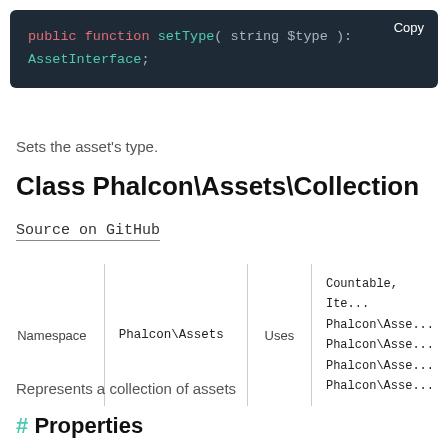[Figure (screenshot): Code block with dark background showing PHP function signature: public function setType( string $type ): AssetInterface; with a Copy button]
Sets the asset's type.
Class Phalcon\Assets\Collection
Source on GitHub
| Namespace | Phalcon\Assets | Uses | Countable, Ite... Phalcon\Asse... Phalcon\Asse... Phalcon\Asse... Phalcon\Asse... |
| --- | --- | --- | --- |
Represents a collection of assets
# Properties